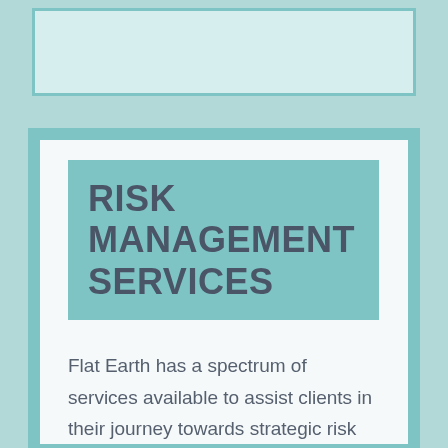RISK MANAGEMENT SERVICES
Flat Earth has a spectrum of services available to assist clients in their journey towards strategic risk management excellence. These services are applicable across both exchange traded and physical commodities and raw materials, and to existing or future challenges in the supply chain.